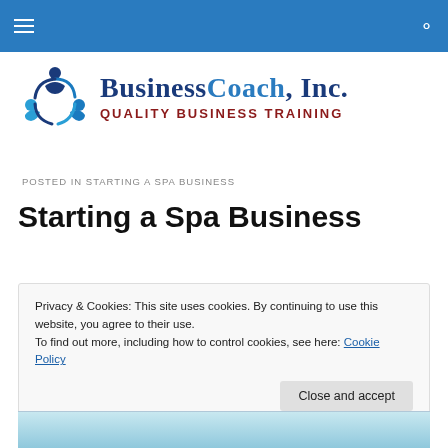[Figure (logo): BusinessCoach, Inc. logo with circular people icon in blue, title 'BusinessCoach, Inc.' in navy and blue serif font, subtitle 'QUALITY BUSINESS TRAINING' in dark red bold caps]
POSTED IN STARTING A SPA BUSINESS
Starting a Spa Business
Privacy & Cookies: This site uses cookies. By continuing to use this website, you agree to their use. To find out more, including how to control cookies, see here: Cookie Policy
Close and accept